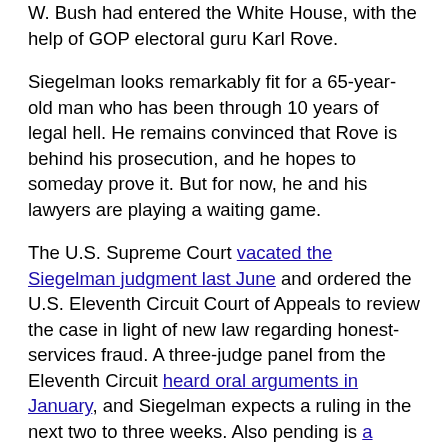W. Bush had entered the White House, with the help of GOP electoral guru Karl Rove.
Siegelman looks remarkably fit for a 65-year-old man who has been through 10 years of legal hell. He remains convinced that Rove is behind his prosecution, and he hopes to someday prove it. But for now, he and his lawyers are playing a waiting game.
The U.S. Supreme Court vacated the Siegelman judgment last June and ordered the U.S. Eleventh Circuit Court of Appeals to review the case in light of new law regarding honest-services fraud. A three-judge panel from the Eleventh Circuit heard oral arguments in January, and Siegelman expects a ruling in the next two to three weeks. Also pending is a motion for the recusal of trial judge Mark Fuller, a Bush appointee who handled the case in a stunningly corrupt, and pro-prosecution, fashion.
"My expectation is that we will win," Siegelman says. "It's just a question of